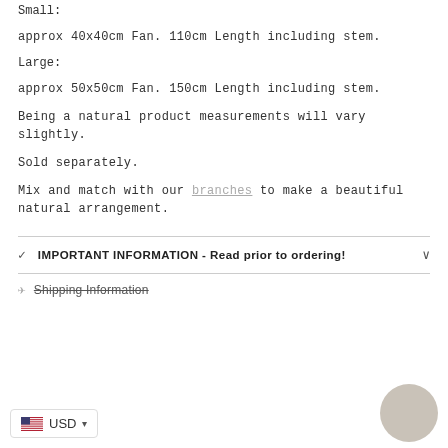Small:
approx 40x40cm Fan. 110cm Length including stem.
Large:
approx 50x50cm Fan. 150cm Length including stem.
Being a natural product measurements will vary slightly.
Sold separately.
Mix and match with our branches to make a beautiful natural arrangement.
IMPORTANT INFORMATION - Read prior to ordering!
Shipping Information